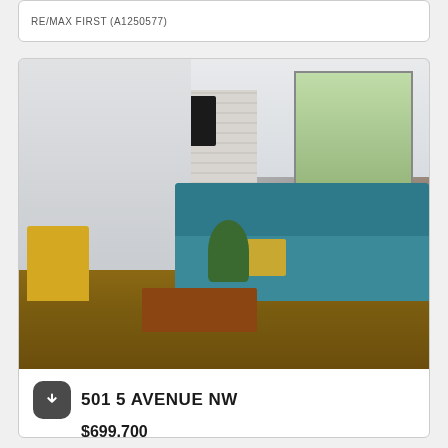RE/MAX FIRST (A1250577)
[Figure (photo): Interior photo of a modern living room with a teal sectional sofa, yellow accent chair, wooden coffee table, brick fireplace with mounted TV, and large windows showing trees and greenery outside]
501 5 AVENUE NW
$699,700